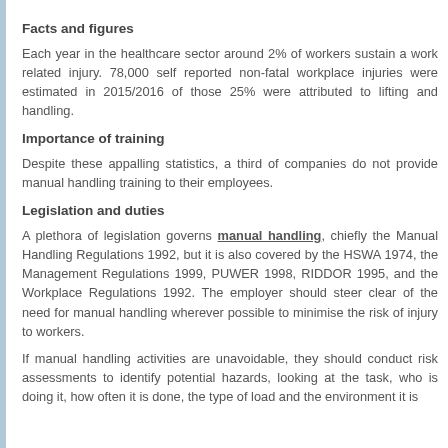Facts and figures
Each year in the healthcare sector around 2% of workers sustain a work related injury. 78,000 self reported non-fatal workplace injuries were estimated in 2015/2016 of those 25% were attributed to lifting and handling.
Importance of training
Despite these appalling statistics, a third of companies do not provide manual handling training to their employees.
Legislation and duties
A plethora of legislation governs manual handling, chiefly the Manual Handling Regulations 1992, but it is also covered by the HSWA 1974, the Management Regulations 1999, PUWER 1998, RIDDOR 1995, and the Workplace Regulations 1992. The employer should steer clear of the need for manual handling wherever possible to minimise the risk of injury to workers.
If manual handling activities are unavoidable, they should conduct risk assessments to identify potential hazards, looking at the task, who is doing it, how often it is done, the type of load and the environment it is undertaken in.